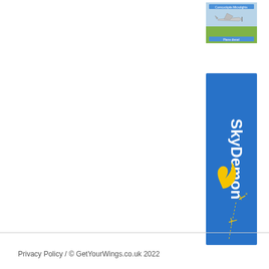[Figure (photo): Small advertisement banner showing a light aircraft on grass with text 'Comcockpits Microlights' and 'Plane diesel']
[Figure (illustration): SkyDemon vertical banner advertisement with blue background, 'SkyDemon' text written vertically, yellow wing logo, and two small yellow aircraft icons with dashed flight path lines]
Privacy Policy / © GetYourWings.co.uk 2022